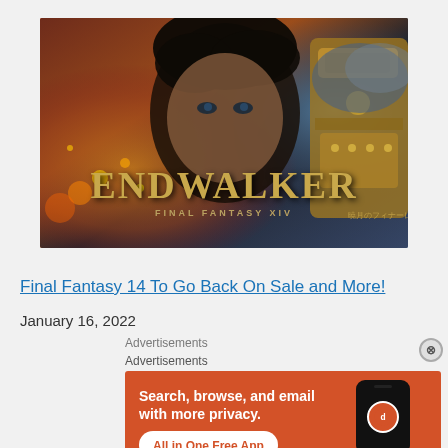[Figure (illustration): Final Fantasy XIV Endwalker promotional game art showing a dark-haired male character and armored figure with golden armor, with the text 'ENDWALKER FINAL FANTASY XIV' overlaid]
Final Fantasy 14 To Go Back On Sale and More!
January 16, 2022
Advertisements
Advertisements
[Figure (screenshot): DuckDuckGo advertisement banner with orange background showing text 'Search, browse, and email with more privacy. All in One Free App' with a phone showing the DuckDuckGo logo]